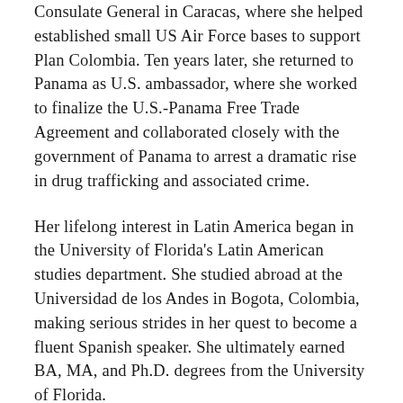Consulate General in Caracas, where she helped established small US Air Force bases to support Plan Colombia.  Ten years later, she returned to Panama as U.S. ambassador, where she worked to finalize the U.S.-Panama Free Trade Agreement and collaborated closely with the government of Panama to arrest a dramatic rise in drug trafficking and associated crime.
Her lifelong interest in Latin America began in the University of Florida's Latin American studies department.  She studied abroad at the Universidad de los Andes in Bogota, Colombia, making serious strides in her quest to become a fluent Spanish speaker.  She ultimately earned BA, MA, and Ph.D. degrees from the University of Florida.
Her work as an American Foreign Service officer also included three years as Consul General in